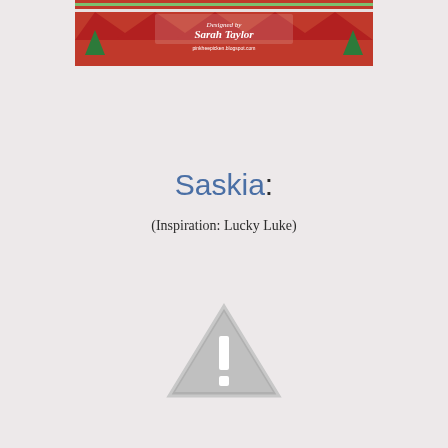[Figure (photo): A Christmas-themed craft card with red triangular mountain/tree shapes and striped patterned background. Text overlay reads 'Designed by Sarah Taylor' with a blog URL 'pinkheepicken.blogspot.com'.]
Saskia:
(Inspiration: Lucky Luke)
[Figure (other): A grey warning/caution triangle icon with an exclamation mark, indicating a missing or broken image.]